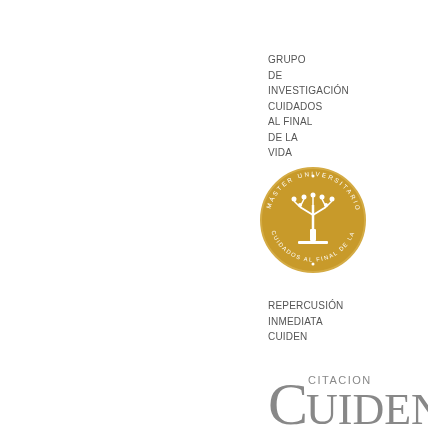GRUPO
DE
INVESTIGACIÓN
CUIDADOS
AL FINAL
DE LA
VIDA
[Figure (logo): Circular gold seal/logo with a tree illustration in the center and text around the perimeter reading 'MÁSTER UNIVERSITARIO' and 'CUIDADOS AL FINAL DE LA VIDA']
REPERCUSIÓN
INMEDIATA
CUIEN
[Figure (logo): CUIDEN CITACION logo with a large stylized 'C' and 'UIDEN' in grey serif font, with 'CITACION' in smaller text above]